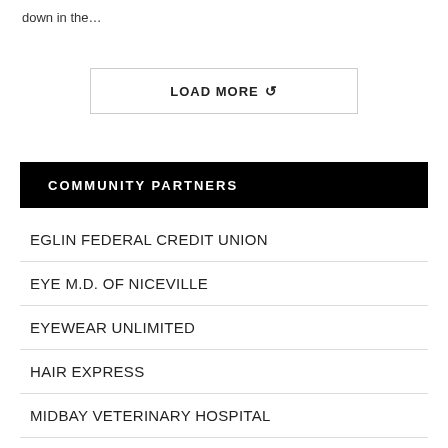down in the…
[Figure (other): LOAD MORE button with refresh icon]
COMMUNITY PARTNERS
EGLIN FEDERAL CREDIT UNION
EYE M.D. OF NICEVILLE
EYEWEAR UNLIMITED
HAIR EXPRESS
MIDBAY VETERINARY HOSPITAL
NICEVILLE FARMERS MARKET